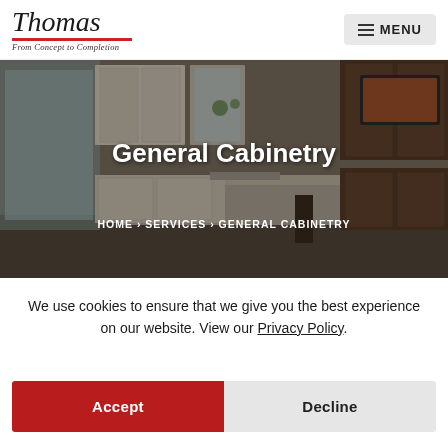Thomas From Concept to Completion — MENU
[Figure (photo): Kitchen cabinetry photo showing cream/white cabinets on the left and dark wood cabinets on the right, with a window in the background. Overlaid text reads 'General Cabinetry' and breadcrumb 'HOME › SERVICES › GENERAL CABINETRY'.]
General Cabinetry
HOME › SERVICES › GENERAL CABINETRY
We use cookies to ensure that we give you the best experience on our website. View our Privacy Policy.
Accept
Decline